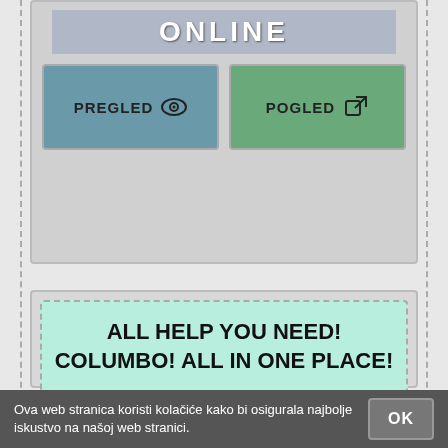[Figure (screenshot): ONLINE header bar in blue-grey]
[Figure (screenshot): PREGLED button with eye icon]
[Figure (screenshot): POGLED button with external link icon]
ALL HELP YOU NEED! COLUMBO! ALL IN ONE PLACE!
https://www.helpwire.com/seek?...
HelpWire is the ultimate one-stop shop for people of all expertise levels looking for help on all kind of topics -- tech, shopping and more.
Ova web stranica koristi kolačiće kako bi osigurala najbolje iskustvo na našoj web stranici.